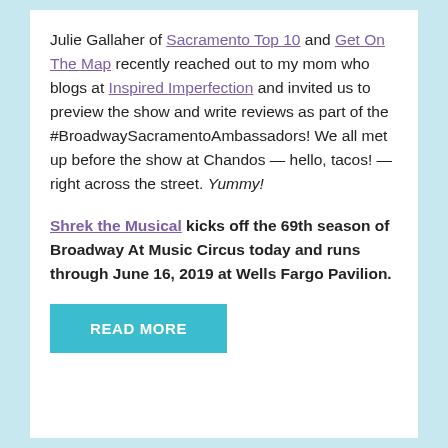Julie Gallaher of Sacramento Top 10 and Get On The Map recently reached out to my mom who blogs at Inspired Imperfection and invited us to preview the show and write reviews as part of the #BroadwaySacramentoAmbassadors! We all met up before the show at Chandos — hello, tacos! — right across the street. Yummy!
Shrek the Musical kicks off the 69th season of Broadway At Music Circus today and runs through June 16, 2019 at Wells Fargo Pavilion.
READ MORE